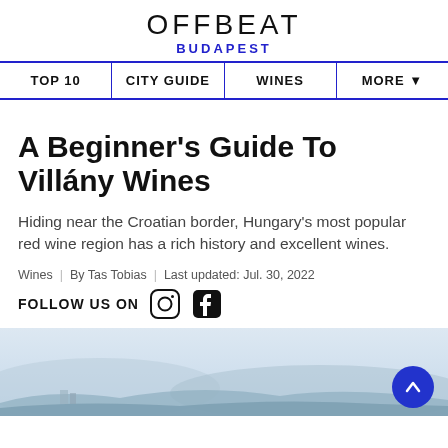OFFBEAT BUDAPEST
TOP 10 | CITY GUIDE | WINES | MORE ▼
A Beginner's Guide To Villány Wines
Hiding near the Croatian border, Hungary's most popular red wine region has a rich history and excellent wines.
Wines | By Tas Tobias | Last updated: Jul. 30, 2022
FOLLOW US ON
[Figure (photo): Landscape photo showing vineyard hills near Villány, Croatia border region, light sky with hazy landscape]